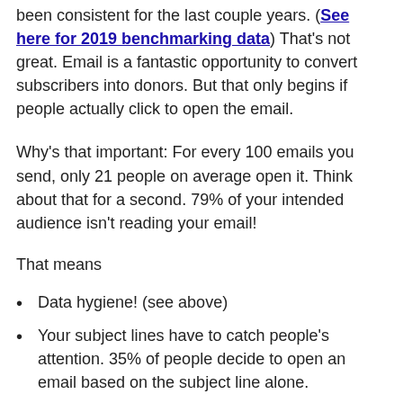been consistent for the last couple years. (See here for 2019 benchmarking data) That's not great. Email is a fantastic opportunity to convert subscribers into donors. But that only begins if people actually click to open the email.
Why's that important: For every 100 emails you send, only 21 people on average open it. Think about that for a second. 79% of your intended audience isn't reading your email!
That means
Data hygiene! (see above)
Your subject lines have to catch people's attention. 35% of people decide to open an email based on the subject line alone.